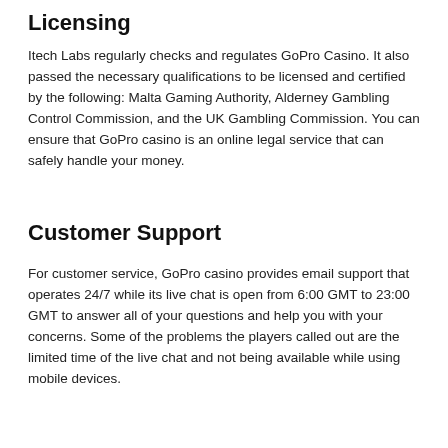Licensing
Itech Labs regularly checks and regulates GoPro Casino. It also passed the necessary qualifications to be licensed and certified by the following: Malta Gaming Authority, Alderney Gambling Control Commission, and the UK Gambling Commission. You can ensure that GoPro casino is an online legal service that can safely handle your money.
Customer Support
For customer service, GoPro casino provides email support that operates 24/7 while its live chat is open from 6:00 GMT to 23:00 GMT to answer all of your questions and help you with your concerns. Some of the problems the players called out are the limited time of the live chat and not being available while using mobile devices.